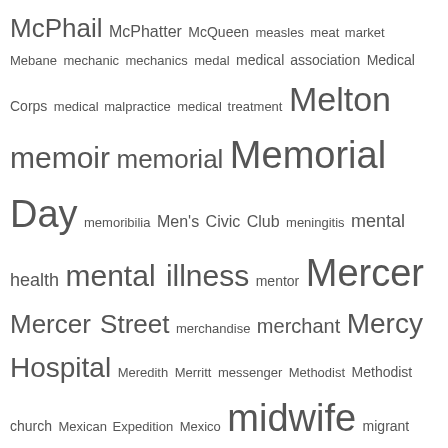[Figure (other): Tag cloud / word cloud showing index terms related to migration, medical topics, and place names. Words are sized by frequency/importance. Terms include: McPhail, McPhatter, McQueen, measles, meat market, Mebane, mechanic, mechanics, medal, medical association, Medical Corps, medical malpractice, medical treatment, Melton, memoir, memorial, Memorial Day, memoribilia, Men's Civic Club, meningitis, mental health, mental illness, mentor, Mercer, Mercer Street, merchandise, merchant, Mercy Hospital, Meredith, Merritt, messenger, Methodist, Methodist church, Mexican Expedition, Mexico, midwife, migrant from Virginia, migrant labor, migrants from Alabama, migrants from Georgia, migrants from South Carolina, migrant worker, migration, migration from Alabama, migration from Bahamas, migration from Florida, migration from Georgia, migration from Maryland, migration from Michigan, migration from Mississippi, migration from Ohio, migration from South Carolina, migration from Tennessee, migration from Texas, migration from Virginia, migration to Alabama, migration to Arizona, migration to Arkana, migration to Arkansas, migration to Boston, migration to California, migration to Chicago, migration to Colorado, migration to Connecticut, migration to Delaware, migration]